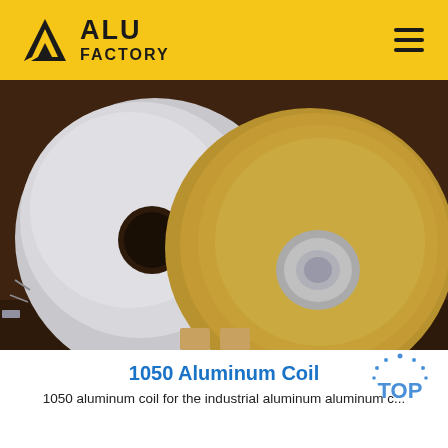ALU FACTORY
[Figure (photo): Two aluminum coil rolls photographed from above on a dark wooden shelf: one silver/metallic finish on the left, one golden/tan finish on the right, each with a circular center hole.]
1050 Aluminum Coil
1050 aluminum coil for the industrial aluminum aluminum c...